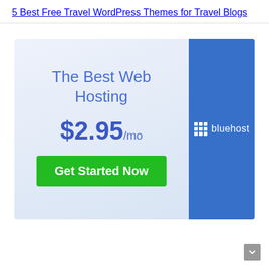5 Best Free Travel WordPress Themes for Travel Blogs
[Figure (other): Bluehost web hosting advertisement banner. Left panel with light blue gradient background shows text 'The Best Web Hosting', price '$2.95/mo', and a green 'Get Started Now' button. Right panel is solid blue with Bluehost logo (grid icon + text 'bluehost').]